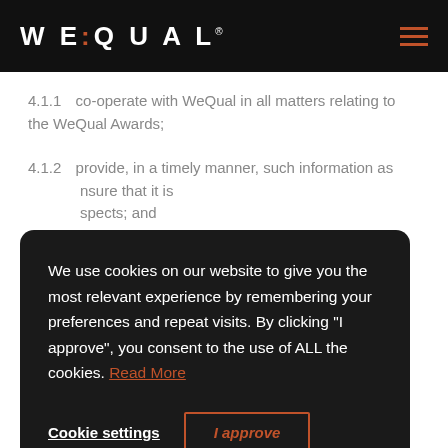WEQUAL
4.1.1   co-operate with WeQual in all matters relating to the WeQual Awards;
4.1.2   provide, in a timely manner, such information as … nsure that it is … spects; and … ual's
We use cookies on our website to give you the most relevant experience by remembering your preferences and repeat visits. By clicking "I approve", you consent to the use of ALL the cookies. Read More
Cookie settings   I approve